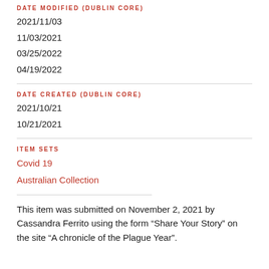DATE MODIFIED (DUBLIN CORE)
2021/11/03
11/03/2021
03/25/2022
04/19/2022
DATE CREATED (DUBLIN CORE)
2021/10/21
10/21/2021
ITEM SETS
Covid 19
Australian Collection
This item was submitted on November 2, 2021 by Cassandra Ferrito using the form “Share Your Story” on the site “A chronicle of the Plague Year”.